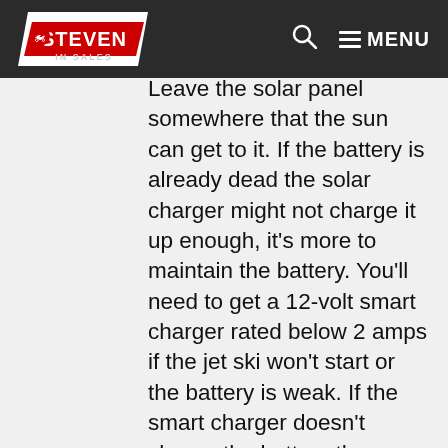Steven in Sales — MENU
Leave the solar panel somewhere that the sun can get to it. If the battery is already dead the solar charger might not charge it up enough, it's more to maintain the battery. You'll need to get a 12-volt smart charger rated below 2 amps if the jet ski won't start or the battery is weak. If the smart charger doesn't charge the battery then you'll need a new battery. I leave all my jet skis with 1/4 of gas for the winter, never fill it up and let it sit. Gas